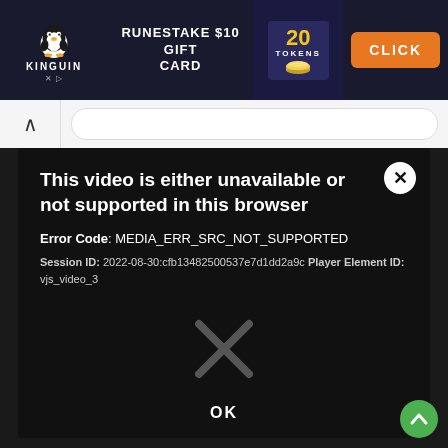[Figure (screenshot): Kinguin advertisement banner showing a penguin mascot, RUNESTAKE $10 GIFT CARD offer, 20 TOKENS, and a CLICK button on dark blue background]
[Figure (screenshot): Browser navigation bar with back/forward arrow and address bar on light gray background]
[Figure (screenshot): Video player error modal on black background with close X button, error message text, session ID, X icon placeholder, and OK button]
This video is either unavailable or not supported in this browser
Error Code: MEDIA_ERR_SRC_NOT_SUPPORTED
Session ID: 2022-08-30:cfb13482500537e7d1dd2a9c Player Element ID: vjs_video_3